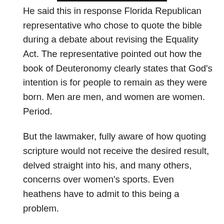He said this in response Florida Republican representative who chose to quote the bible during a debate about revising the Equality Act. The representative pointed out how the book of Deuteronomy clearly states that God's intention is for people to remain as they were born. Men are men, and women are women. Period.
But the lawmaker, fully aware of how quoting scripture would not receive the desired result, delved straight into his, and many others, concerns over women's sports. Even heathens have to admit to this being a problem.
Argue if you will, but America was in fact founded on Christian principles by virtue of the very men who wrote our constitution. So it only stands to reason how these same principles should still be applied or at least considered in a modern Christian majority nation. There are Christians living